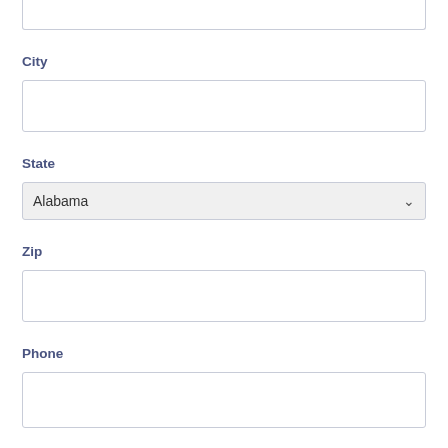(top input box — partial, cropped at top)
City
(City input field)
State
Alabama (dropdown)
Zip
(Zip input field)
Phone
(Phone input field)